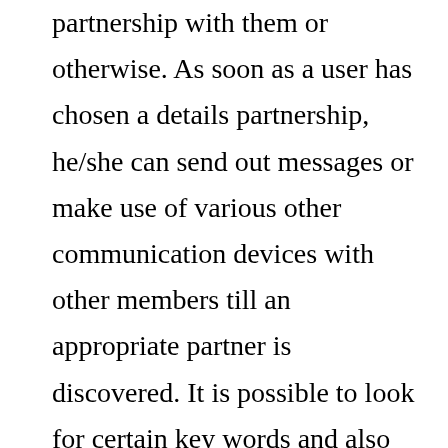partnership with them or otherwise. As soon as a user has chosen a details partnership, he/she can send out messages or make use of various other communication devices with other members till an appropriate partner is discovered. It is possible to look for certain key words and also sight feasible suits in just couple of clicks. Individuals can also rank their partners as well as use remarks as a method to link and also bond via these dating internet sites.